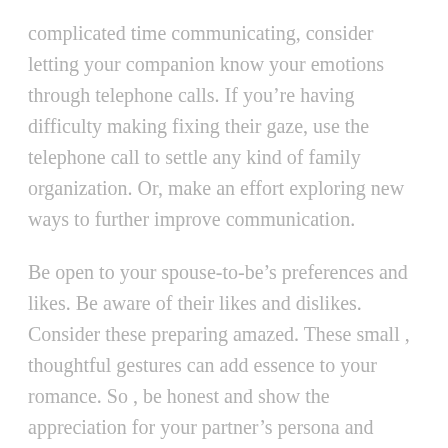complicated time communicating, consider letting your companion know your emotions through telephone calls. If you’re having difficulty making fixing their gaze, use the telephone call to settle any kind of family organization. Or, make an effort exploring new ways to further improve communication.
Be open to your spouse-to-be’s preferences and likes. Be aware of their likes and dislikes. Consider these preparing amazed. These small , thoughtful gestures can add essence to your romance. So , be honest and show the appreciation for your partner’s persona and actions. If you can’t be honest with your partner, you may you should be creating a condition for yourself. Keep in mind that a healthy relationship takes work, and that’s and what will make it last.
Help to make time for enchantment. While solid feelings to your